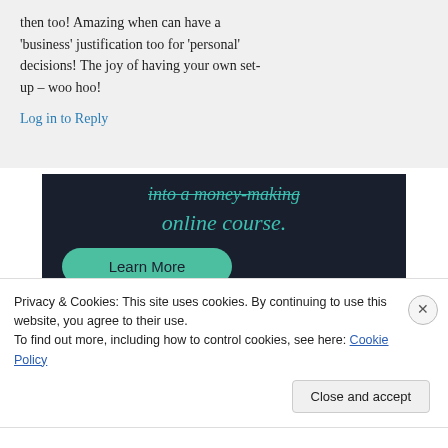then too! Amazing when can have a 'business' justification too for 'personal' decisions! The joy of having your own set-up – woo hoo!
Log in to Reply
[Figure (advertisement): Dark navy ad banner showing text 'into a money-making online course.' in teal italic with a teal 'Learn More' rounded button]
Privacy & Cookies: This site uses cookies. By continuing to use this website, you agree to their use.
To find out more, including how to control cookies, see here: Cookie Policy
Close and accept